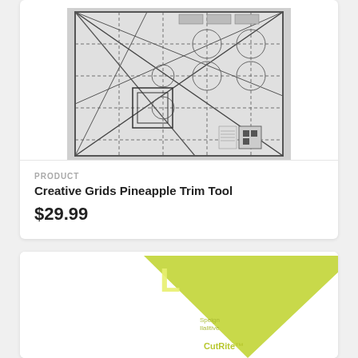[Figure (photo): Product image of Creative Grids Pineapple Trim Tool - a quilting ruler with grid lines, diagonal lines, and circular markings on a gray background]
PRODUCT
Creative Grids Pineapple Trim Tool
$29.99
[Figure (photo): Product image of a yellow-green triangular quilting tool with letter L marking and CutRite branding visible at the bottom]